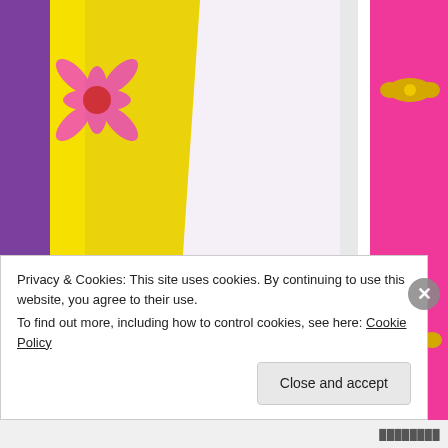[Figure (photo): Close-up photo of a colorful children's toy set. Visible is a pink 'STYLING SPACE' label and a card with an illustrated doll figure with text: 'THE DOLL BETWEEN BEAUTY AND VOGUE WILL BRING YOU TO FEELS DIFFERENTLY, WILLINGLY LET YOU ARING TO GET'. Background includes purple, yellow and pink toy furniture with gold bow handles and flower decorations.]
Privacy & Cookies: This site uses cookies. By continuing to use this website, you agree to their use.
To find out more, including how to control cookies, see here: Cookie Policy
Close and accept